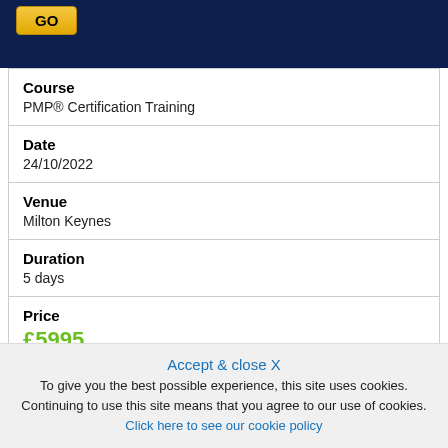[Figure (screenshot): Dark navy blue banner header with a yellow GO button in the top left corner]
| Course | PMP® Certification Training |
| Date | 24/10/2022 |
| Venue | Milton Keynes |
| Duration | 5 days |
| Price | £5995 |
Accept & close X
To give you the best possible experience, this site uses cookies. Continuing to use this site means that you agree to our use of cookies. Click here to see our cookie policy